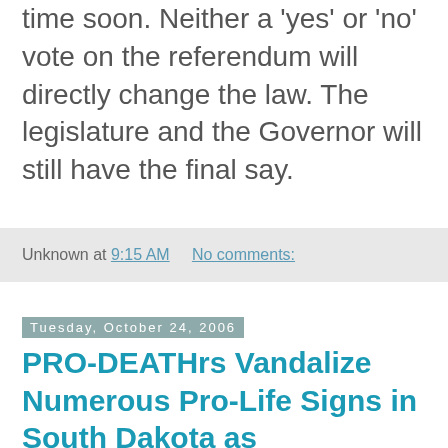time soon. Neither a 'yes' or 'no' vote on the referendum will directly change the law. The legislature and the Governor will still have the final say.
Unknown at 9:15 AM   No comments:
Tuesday, October 24, 2006
PRO-DEATHrs Vandalize Numerous Pro-Life Signs in South Dakota as Referendum Nears
. Pierre, SD (LifeNews.com) -- The pro-abortion organization that is opposing the statewide abortion ban in South Dakota is spending hundreds of thousands of dollars to televise ads against the ban. Though they have outspent pro-life advocates by a 2-1 margin pro-abortion activists have tried to silence the pro-life